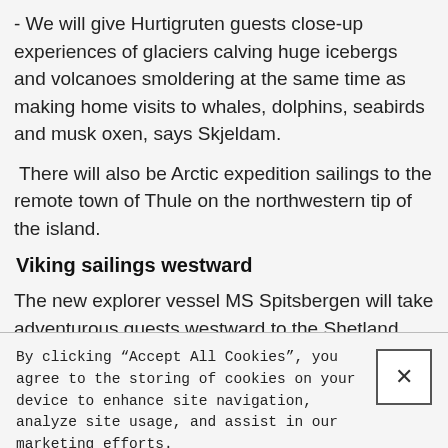- We will give Hurtigruten guests close-up experiences of glaciers calving huge icebergs and volcanoes smoldering at the same time as making home visits to whales, dolphins, seabirds and musk oxen, says Skjeldam.
There will also be Arctic expedition sailings to the remote town of Thule on the northwestern tip of the island.
Viking sailings westward
The new explorer vessel MS Spitsbergen will take adventurous guests westward to the Shetland Islands, the Orkney Islands and the Faroe Islands, and to ports such as Lerwick, Kirkwall and Thorshavn
By clicking “Accept All Cookies”, you agree to the storing of cookies on your device to enhance site navigation, analyze site usage, and assist in our marketing efforts.